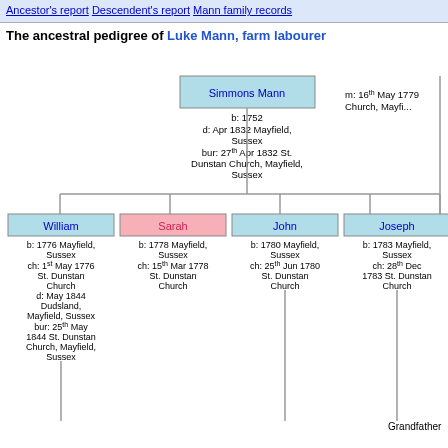Ancestor's report
Descendent's report
Mann family records
The ancestral pedigree of Luke Mann, farm labourer
[Figure (organizational-chart): Ancestral pedigree chart showing Simmons Mann (b:1752, d: Apr 1832 Mayfield, Sussex, bur: 27th Apr 1832 St. Dunstan Church, Mayfield, Sussex) with marriage note (m: 16th May 1779 Church, Mayfield) and children: William (b:1776 Mayfield Sussex, ch: 1st May 1776 St. Dunstan Church, d: May 1844 Dudsland Mayfield Sussex, bur: 25th May 1844 St. Dunstan Church Mayfield Sussex), Sarah (b:1778 Mayfield Sussex, ch: 15th Mar 1778 St. Dunstan Church), John (b:1780 Mayfield Sussex, ch: 25th Jun 1780 St. Dunstan Church), Joseph (b:1783 Mayfield Sussex, ch: 28th Dec 1783 St. Dunstan Church), and partial 'Grandfather' label at bottom right.]